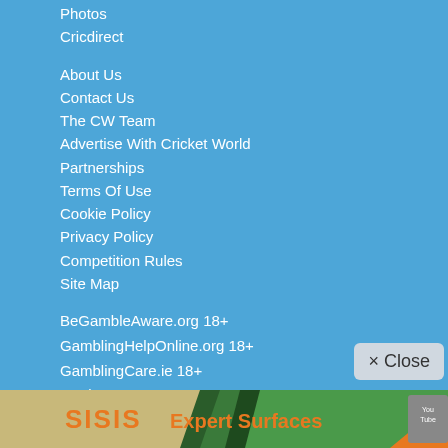Photos
Cricdirect
About Us
Contact Us
The CW Team
Advertise With Cricket World
Partnerships
Terms Of Use
Cookie Policy
Privacy Policy
Competition Rules
Site Map
BeGambleAware.org 18+
GamblingHelpOnline.org 18+
GamblingCare.ie 18+
nss-bg.org 18+
[Figure (illustration): SISIS Expert Surfaces advertisement banner with green and beige background, orange and white text, and a YouTube icon on the right side]